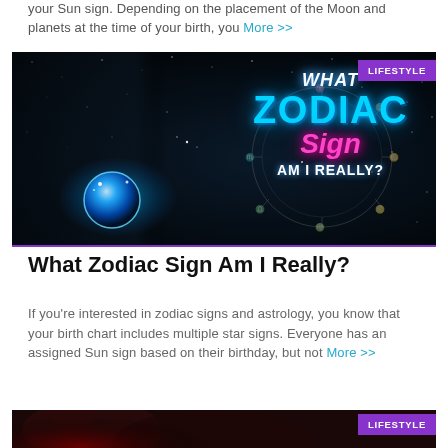your Sun sign. Depending on the placement of the Moon and planets at the time of your birth, you More >>
[Figure (photo): Dark dramatic photo of a man in glasses holding a glowing blue orb with zodiac symbols, neon text overlay reading WHAT ZODIAC Sign AM I REALLY?, purple LIFESTYLE badge top right]
What Zodiac Sign Am I Really?
If you're interested in zodiac signs and astrology, you know that your birth chart includes multiple star signs. Everyone has an assigned Sun sign based on their birthday, but not More >>
[Figure (photo): Dark background image with red/maroon tones partially visible at bottom, with LIFESTYLE purple badge]